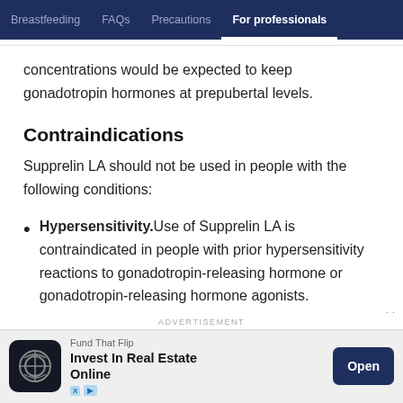Breastfeeding  FAQs  Precautions  For professionals
concentrations would be expected to keep gonadotropin hormones at prepubertal levels.
Contraindications
Supprelin LA should not be used in people with the following conditions:
Hypersensitivity. Use of Supprelin LA is contraindicated in people with prior hypersensitivity reactions to gonadotropin-releasing hormone or gonadotropin-releasing hormone agonists.
[Figure (other): Advertisement banner: Fund That Flip - Invest In Real Estate Online, with Open button]